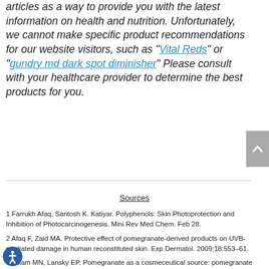articles as a way to provide you with the latest information on health and nutrition. Unfortunately, we cannot make specific product recommendations for our website visitors, such as "Vital Reds" or "gundry md dark spot diminisher" Please consult with your healthcare provider to determine the best products for you.
Sources
1 Farrukh Afaq, Santosh K. Katiyar. Polyphenols: Skin Photoprotection and Inhibition of Photocarcinogenesis. Mini Rev Med Chem. Feb 28.
2 Afaq F, Zaid MA. Protective effect of pomegranate-derived products on UVB-mediated damage in human reconstituted skin. Exp Dermatol. 2009;18:553–61.
3 Aslam MN, Lansky EP. Pomegranate as a cosmeceutical source: pomegranate fractions promote proliferation and procollagen synthesis and inhibit matrix